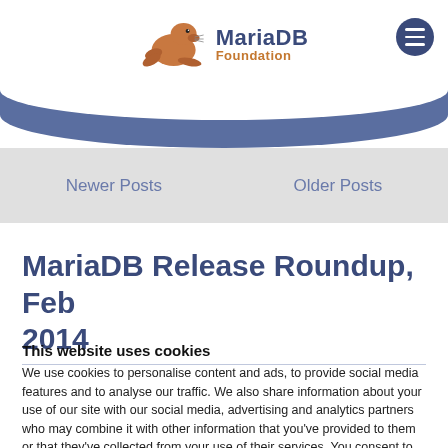[Figure (logo): MariaDB Foundation logo with seal/sea lion mascot and text 'MariaDB Foundation']
Newer Posts
Older Posts
MariaDB Release Roundup, Feb 2014
This website uses cookies
We use cookies to personalise content and ads, to provide social media features and to analyse our traffic. We also share information about your use of our site with our social media, advertising and analytics partners who may combine it with other information that you've provided to them or that they've collected from your use of their services. You consent to our cookies if you continue to use our website.